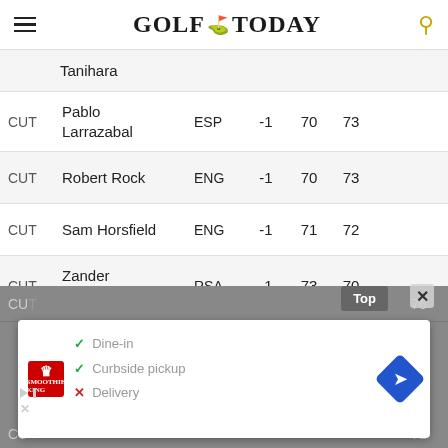Golf Today
| Position | Player | Country | Score | R1 | R2 |
| --- | --- | --- | --- | --- | --- |
|  | Tanihara |  |  |  |  |
| CUT | Pablo Larrazabal | ESP | -1 | 70 | 73 |
| CUT | Robert Rock | ENG | -1 | 70 | 73 |
| CUT | Sam Horsfield | ENG | -1 | 71 | 72 |
| CUT | Zander Lombard | RSA | -1 | 73 | 70 |
| CUT |  |  |  |  | 76 |
| CUT |  |  |  |  | 72 |
[Figure (screenshot): Advertisement overlay showing Smoothie King restaurant with Dine-in, Curbside pickup, and Delivery options, with navigation icon]